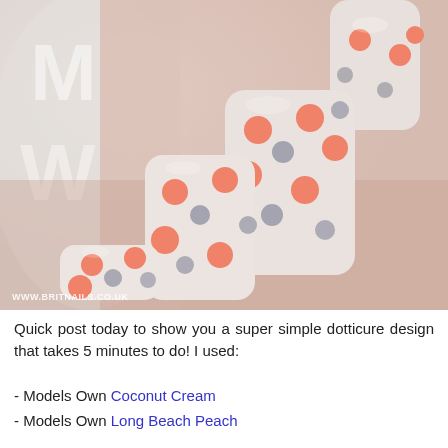[Figure (photo): Close-up photo of a hand with white nail polish decorated with coral/salmon and silver polka dots (dotticure nail art). The nails are square-shaped. A white plastic object is visible in the background. Watermark reads WWW.BRITNAILS.CO.UK in the bottom left corner.]
Quick post today to show you a super simple dotticure design that takes 5 minutes to do! I used:
- Models Own Coconut Cream
- Models Own Long Beach Peach